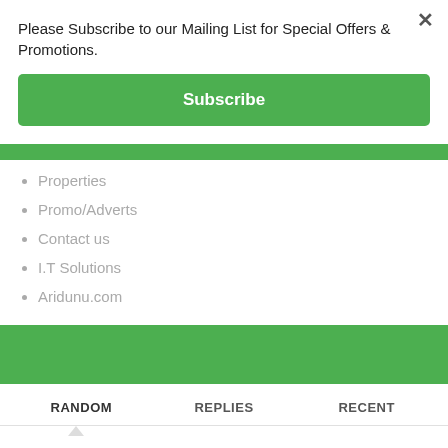Please Subscribe to our Mailing List for Special Offers & Promotions.
×
Subscribe
Properties
Promo/Adverts
Contact us
I.T Solutions
Aridunu.com
RANDOM
REPLIES
RECENT
Tesumole by Naira Marley 💬 0